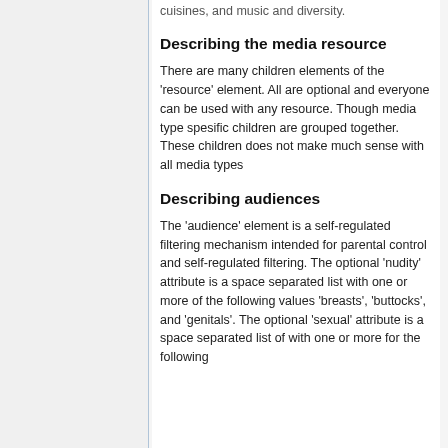cuisines, and music and diversity.
Describing the media resource
There are many children elements of the 'resource' element. All are optional and everyone can be used with any resource. Though media type spesific children are grouped together. These children does not make much sense with all media types
Describing audiences
The 'audience' element is a self-regulated filtering mechanism intended for parental control and self-regulated filtering. The optional 'nudity' attribute is a space separated list with one or more of the following values 'breasts', 'buttocks', and 'genitals'. The optional 'sexual' attribute is a space separated list of with one or more for the following